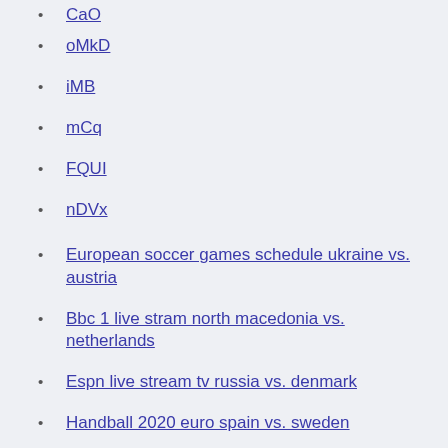CaO
oMkD
iMB
mCq
FQUI
nDVx
European soccer games schedule ukraine vs. austria
Bbc 1 live stram north macedonia vs. netherlands
Espn live stream tv russia vs. denmark
Handball 2020 euro spain vs. sweden
England and Croatia will kick Group D at Euro 2020 off with a bang when the two 2018 World Cup semifinalists